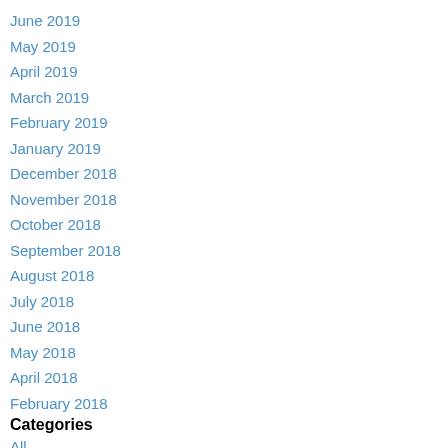June 2019
May 2019
April 2019
March 2019
February 2019
January 2019
December 2018
November 2018
October 2018
September 2018
August 2018
July 2018
June 2018
May 2018
April 2018
February 2018
Categories
All
Academia
Alt Academia